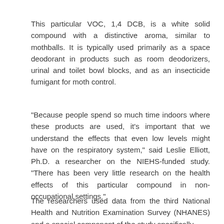This particular VOC, 1,4 DCB, is a white solid compound with a distinctive aroma, similar to mothballs. It is typically used primarily as a space deodorant in products such as room deodorizers, urinal and toilet bowl blocks, and as an insecticide fumigant for moth control.
"Because people spend so much time indoors where these products are used, it's important that we understand the effects that even low levels might have on the respiratory system," said Leslie Elliott, Ph.D. a researcher on the NIEHS-funded study. "There has been very little research on the health effects of this particular compound in non-occupational settings."
The researchers used data from the third National Health and Nutrition Examination Survey (NHANES) and a special component of the study specifically